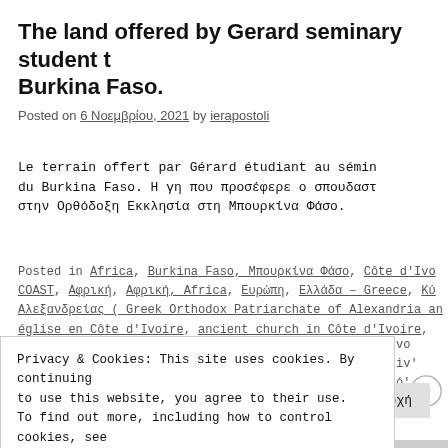The land offered by Gerard seminary student t Burkina Faso.
Posted on 6 Νοεμβρίου, 2021 by ierapostoli
Le terrain offert par Gérard étudiant au sémin du Burkina Faso. Η γη που προσέφερε ο σπουδαστ στην Ορθόδοξη Εκκλησία στη Μπουρκίνα Φάσο.
Posted in Africa, Burkina Faso, Μπουρκίνα Φάσο, Côte d'Ivo COAST, Αφρική, Αφρική, Africa, Ευρώπη, Ελλάδα – Greece, Κύ Αλεξανδρείας ( Greek Orthodox Patriarchate of Alexandria an église en Côte d'Ivoire, ancient church in Côte d'Ivoire,
Privacy & Cookies: This site uses cookies. By continuing to use this website, you agree to their use.
To find out more, including how to control cookies, see here: Cookie Policy
Κλείσιμο και αποδοχή